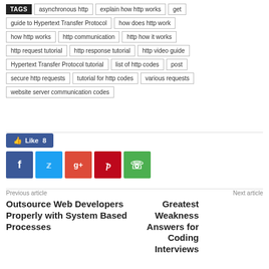TAGS asynchronous http   explain how http works   get   guide to Hypertext Transfer Protocol   how does http work   how http works   http communication   http how it works   http request tutorial   http response tutorial   http video guide   Hypertext Transfer Protocol tutorial   list of http codes   post   secure http requests   tutorial for http codes   various requests   website server communication codes
[Figure (infographic): Social sharing buttons: Facebook Like (8), Facebook, Twitter, Google+, Pinterest, WhatsApp]
Previous article   Outsource Web Developers Properly with System Based Processes
Next article   Greatest Weakness Answers for Coding Interviews